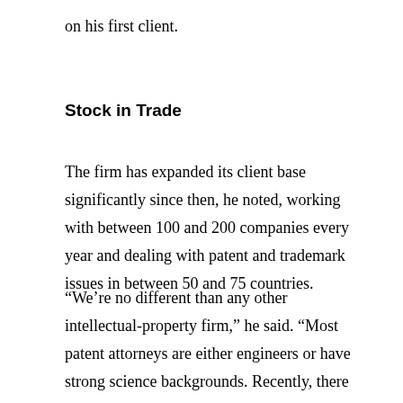on his first client.
Stock in Trade
The firm has expanded its client base significantly since then, he noted, working with between 100 and 200 companies every year and dealing with patent and trademark issues in between 50 and 75 countries.
“We’re no different than any other intellectual-property firm,” he said. “Most patent attorneys are either engineers or have strong science backgrounds. Recently, there are patent attorneys who are computer programmers, too. I’m an aerospace engineer, and Mary is a chemist.” In fact, she was